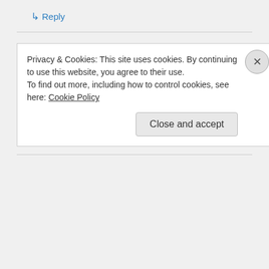↳ Reply
Clanmother on November 24, 2013 at 8:01 PM
[Figure (photo): Small circular avatar photo of a person wearing glasses]
You always make my day!!! Your attention to detail is remarkable....
↳ Reply
Privacy & Cookies: This site uses cookies. By continuing to use this website, you agree to their use.
To find out more, including how to control cookies, see here: Cookie Policy
Close and accept